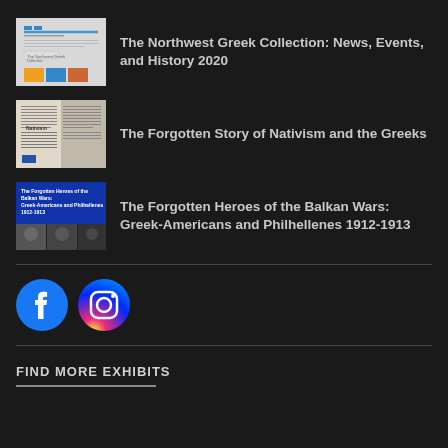The Northwest Greek Collection: News, Events, and History 2020
The Forgotten Story of Nativism and the Greeks
The Forgotten Heroes of the Balkan Wars: Greek-Americans and Philhellenes 1912-1913
[Figure (logo): Facebook logo icon (circular blue)]
[Figure (logo): Instagram logo icon (circular gradient)]
FIND MORE EXHIBITS